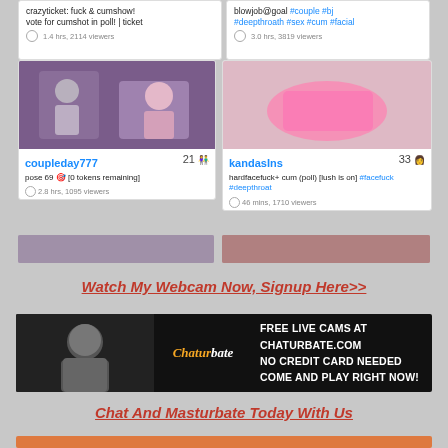[Figure (screenshot): Webcam site grid showing two partial top cards with text 'crazyticket: fuck & cumshow! vote for cumshot in poll! | ticket' with 1.4 hrs, 2114 viewers, and 'blowjob@goal #couple #bj #deepthroath #sex #cum #facial' with 3.0 hrs, 3819 viewers]
[Figure (screenshot): Webcam card for coupleday777 showing couple image, count 21, 'pose 69 [0 tokens remaining]', 2.8 hrs, 1095 viewers]
[Figure (screenshot): Webcam card for kandasIns showing solo image, count 33, 'hardfacefuck+ cum (poll) [lush is on] #facefuck #deepthroat', 46 mins, 1710 viewers]
Watch My Webcam Now, Signup Here>>
[Figure (illustration): Chaturbate banner ad: FREE LIVE CAMS AT CHATURBATE.COM NO CREDIT CARD NEEDED COME AND PLAY RIGHT NOW!]
Chat And Masturbate Today With Us